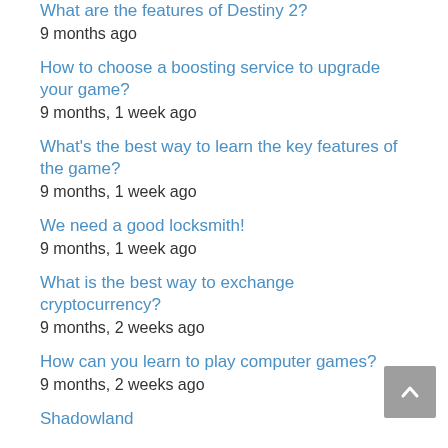What are the features of Destiny 2?
9 months ago
How to choose a boosting service to upgrade your game?
9 months, 1 week ago
What's the best way to learn the key features of the game?
9 months, 1 week ago
We need a good locksmith!
9 months, 1 week ago
What is the best way to exchange cryptocurrency?
9 months, 2 weeks ago
How can you learn to play computer games?
9 months, 2 weeks ago
Shadowland